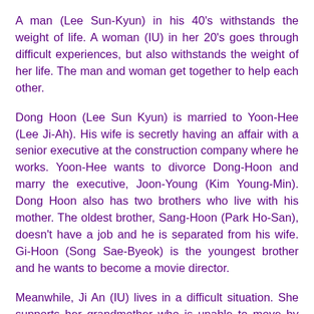A man (Lee Sun-Kyun) in his 40's withstands the weight of life. A woman (IU) in her 20's goes through difficult experiences, but also withstands the weight of her life. The man and woman get together to help each other.
Dong Hoon (Lee Sun Kyun) is married to Yoon-Hee (Lee Ji-Ah). His wife is secretly having an affair with a senior executive at the construction company where he works. Yoon-Hee wants to divorce Dong-Hoon and marry the executive, Joon-Young (Kim Young-Min). Dong Hoon also has two brothers who live with his mother. The oldest brother, Sang-Hoon (Park Ho-San), doesn't have a job and he is separated from his wife. Gi-Hoon (Song Sae-Byeok) is the youngest brother and he wants to become a movie director.
Meanwhile, Ji An (IU) lives in a difficult situation. She supports her grandmother who is unable to move by herself. Ji-An is also in heavy debt and is harassed by loan shark Gwang-Il (Chang Ki-Yong). She works as a temp employee